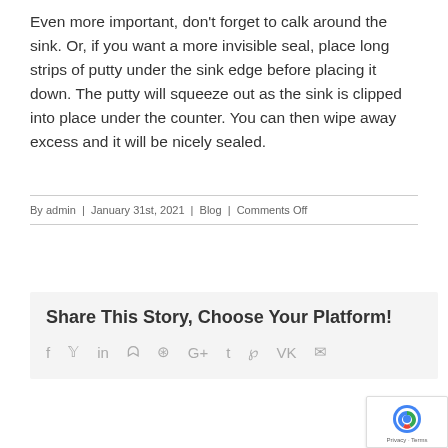Even more important, don't forget to calk around the sink. Or, if you want a more invisible seal, place long strips of putty under the sink edge before placing it down. The putty will squeeze out as the sink is clipped into place under the counter. You can then wipe away excess and it will be nicely sealed.
By admin | January 31st, 2021 | Blog | Comments Off
Share This Story, Choose Your Platform!
[Figure (other): Social sharing icons: Facebook, Twitter, LinkedIn, Reddit, WhatsApp, Google+, Tumblr, Pinterest, VK, Email]
[Figure (other): reCAPTCHA badge with Google Privacy and Terms links]